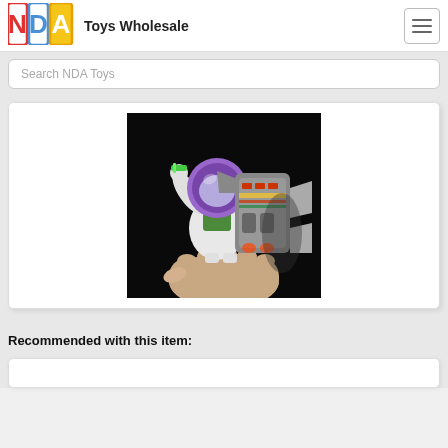[Figure (logo): NDA toy blocks logo with colored letter tiles]
Toys Wholesale
Search NDA Toys
[Figure (photo): Buzz Lightyear action figure being held by a hand against a dark background, showing the jetpack detail]
Recommended with this item: